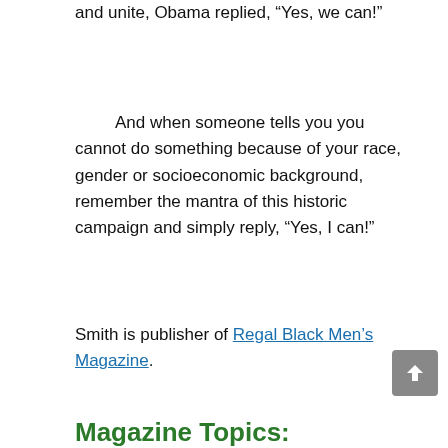and unite, Obama replied, “Yes, we can!”
And when someone tells you you cannot do something because of your race, gender or socioeconomic background, remember the mantra of this historic campaign and simply reply, “Yes, I can!”
Smith is publisher of Regal Black Men’s Magazine.
Magazine Topics: